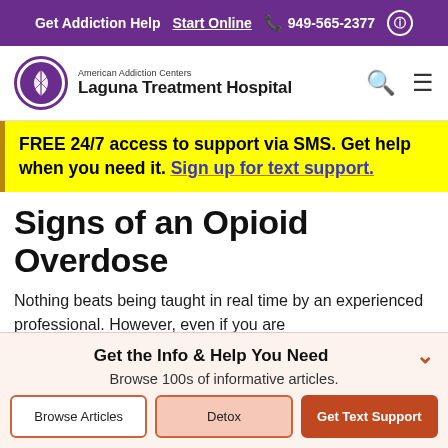Get Addiction Help  Start Online  949-565-2377
[Figure (logo): American Addiction Centers Laguna Treatment Hospital logo with purple shell emblem]
FREE 24/7 access to support via SMS. Get help when you need it. Sign up for text support.
Signs of an Opioid Overdose
Nothing beats being taught in real time by an experienced professional. However, even if you are
Get the Info & Help You Need
Browse 100s of informative articles.
Browse Articles   Detox   Get Text Support